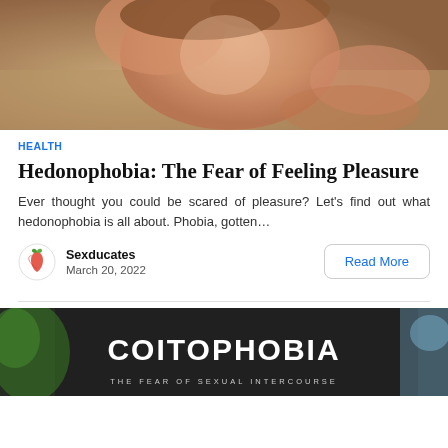[Figure (photo): Close-up photo of two people in an intimate moment, one person leaning back with eyes closed, warm sunlit tones]
HEALTH
Hedonophobia: The Fear of Feeling Pleasure
Ever thought you could be scared of pleasure? Let’s find out what hedonophobia is all about. Phobia, gotten…
Sexducates
March 20, 2022
Read More
[Figure (photo): Dark background image with bold white text reading COITOPHOBIA, with green foliage on left and sky on right, subtitle text partially visible reading THE FEAR OF SEXUAL INTERCOURSE]